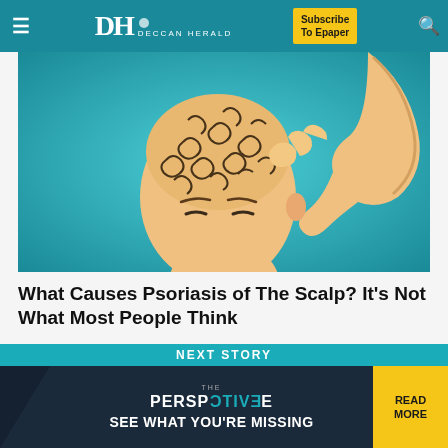Deccan Herald — Navigation bar with hamburger menu, DH Deccan Herald logo, Subscribe To Epaper button, search icon
[Figure (illustration): Illustration of a bald person scratching their scalp with their hand, showing swirling patterns on the scalp representing psoriasis. Background is teal/turquoise.]
What Causes Psoriasis of The Scalp? It's Not What Most People Think
Scalp Psoriasis | Search Ads
NEXT STORY
[Figure (other): The Perspective advertisement banner: 'THE PERSPECTIVE — SEE WHAT YOU'RE MISSING' with READ MORE button in yellow]